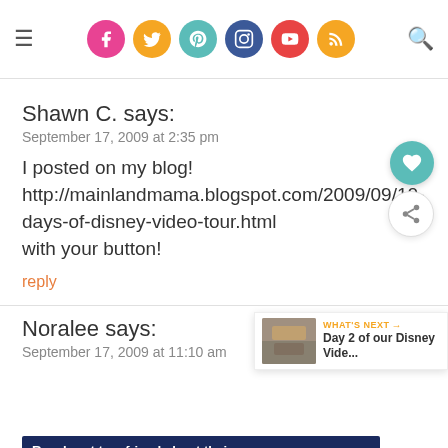Social media navigation header with icons: Facebook, Twitter, Pinterest, Instagram, YouTube, RSS. Menu icon left, Search icon right.
Shawn C. says:
September 17, 2009 at 2:35 pm
I posted on my blog! http://mainlandmama.blogspot.com/2009/09/10-days-of-disney-video-tour.html with your button!
reply
Noralee says:
September 17, 2009 at 11:10 am
[Figure (infographic): WHAT'S NEXT banner showing Day 2 of our Disney Vide... with thumbnail image]
[Figure (infographic): Advertisement banner: Reach out to a friend about their mental health. Learn more. SEIZE THE AWKWARD.]